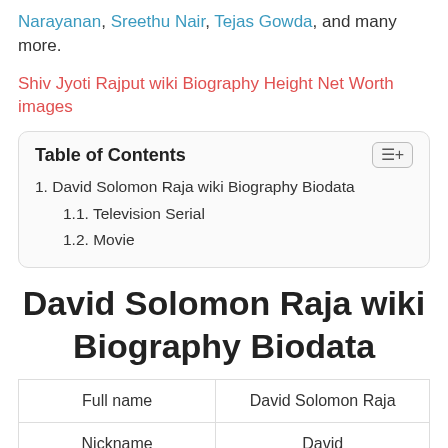Narayanan, Sreethu Nair, Tejas Gowda, and many more.
Shiv Jyoti Rajput wiki Biography Height Net Worth images
1. David Solomon Raja wiki Biography Biodata
1.1. Television Serial
1.2. Movie
David Solomon Raja wiki Biography Biodata
| Full name | David Solomon Raja |
| Nickname | David |